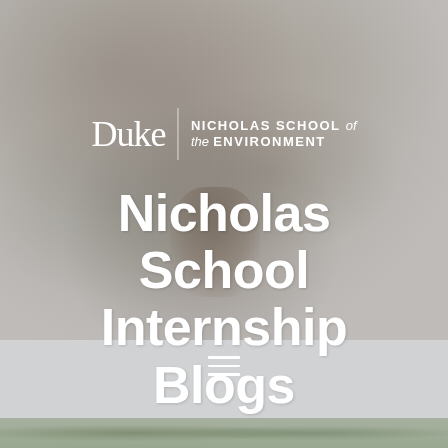[Figure (photo): Background image of a person rock climbing on a stone face, overlaid with a grey/light filter. Used as decorative banner background for the Nicholas School Internship Blogs page.]
Duke | NICHOLAS SCHOOL of the ENVIRONMENT
Nicholas School Internship Blogs
[Figure (infographic): Hamburger menu icon (three horizontal white lines) in a grey navigation bar]
[Figure (photo): Bottom strip showing partial nature/outdoor photo in muted greens]